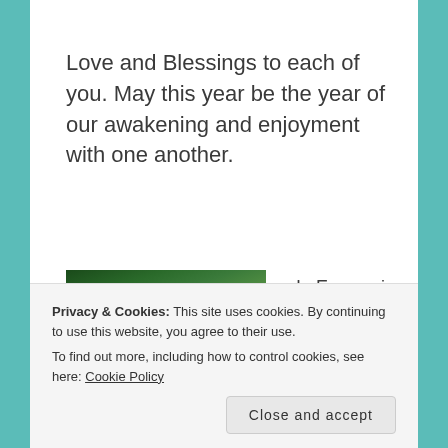Love and Blessings to each of you. May this year be the year of our awakening and enjoyment with one another.
[Figure (photo): Photo of a woman with blonde hair near a Christmas tree with lights and decorations]
In Expressions of Oneness,
Privacy & Cookies: This site uses cookies. By continuing to use this website, you agree to their use.
To find out more, including how to control cookies, see here: Cookie Policy
Close and accept